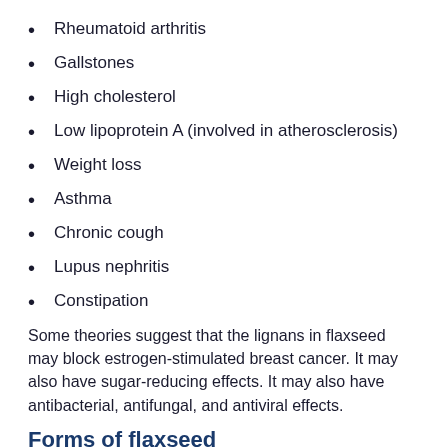Rheumatoid arthritis
Gallstones
High cholesterol
Low lipoprotein A (involved in atherosclerosis)
Weight loss
Asthma
Chronic cough
Lupus nephritis
Constipation
Some theories suggest that the lignans in flaxseed may block estrogen-stimulated breast cancer. It may also have sugar-reducing effects. It may also have antibacterial, antifungal, and antiviral effects.
Forms of flaxseed